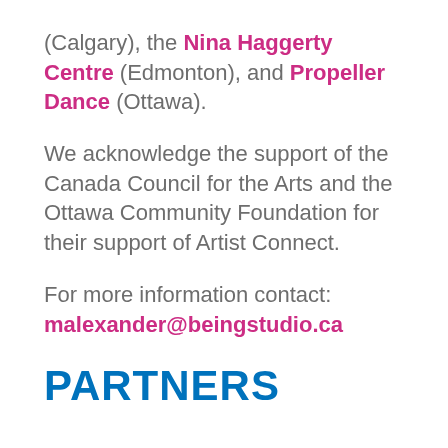(Calgary), the Nina Haggerty Centre (Edmonton), and Propeller Dance (Ottawa).
We acknowledge the support of the Canada Council for the Arts and the Ottawa Community Foundation for their support of Artist Connect.
For more information contact: malexander@beingstudio.ca
PARTNERS